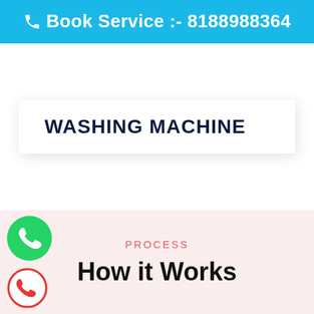☎ Book Service :- 8188988364
WASHING MACHINE
PROCESS
How it Works
[Figure (logo): Green WhatsApp phone icon button]
[Figure (logo): Red circular phone call icon button]